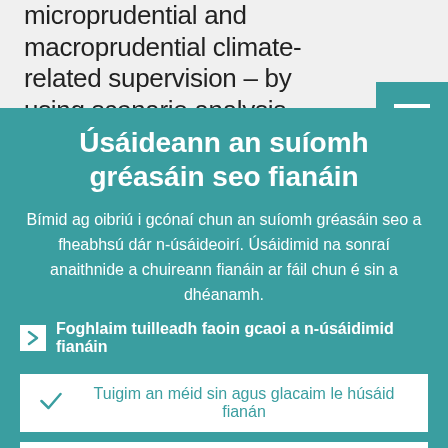microprudential and macroprudential climate-related supervision – by using scenario analysis including climate stress
Úsáideann an suíomh gréasáin seo fianáin
Bímid ag oibriú i gcónaí chun an suíomh gréasáin seo a fheabhsú dár n-úsáideoirí. Úsáidimid na sonraí anaithnide a chuireann fianáin ar fáil chun é sin a dhéanamh.
Foghlaim tuilleadh faoin gcaoi a n-úsáidimid fianáin
Tuigim an méid sin agus glacaim le húsáid fianán
Ní ghlacaim le húsáid fianán